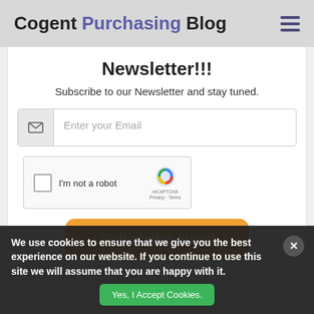Cogent Purchasing Blog
Newsletter!!!
Subscribe to our Newsletter and stay tuned.
[Figure (screenshot): Email input field with envelope icon and placeholder text 'Enter your Email']
[Figure (screenshot): reCAPTCHA widget with checkbox and 'I'm not a robot' label]
[Figure (screenshot): Orange 'Subscribe Now!' button]
We use cookies to ensure that we give you the best experience on our website. If you continue to use this site we will assume that you are happy with it.
[Figure (screenshot): Green 'Yes, I Accept Cookies.' button]